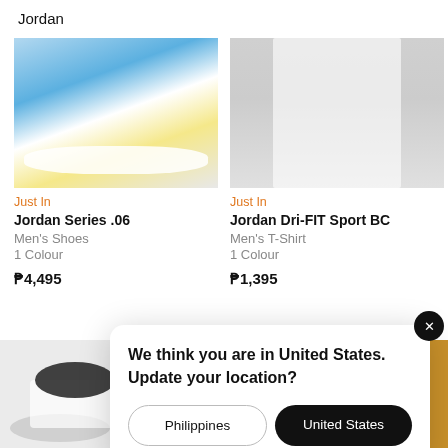Jordan
[Figure (photo): Partial view of a blue and white Jordan Series .06 shoe from below/side angle on a light grey background]
Just In
Jordan Series .06
Men's Shoes
1 Colour
₱4,495
[Figure (photo): Man wearing white Jordan Dri-FIT Sport BC t-shirt and white shorts, cropped at torso]
Just In
Jordan Dri-FIT Sport BC
Men's T-Shirt
1 Colour
₱1,395
[Figure (photo): Partial view of another shoe product at bottom left]
[Figure (photo): Orange/brown product image at bottom right]
We think you are in United States. Update your location?
Philippines
United States